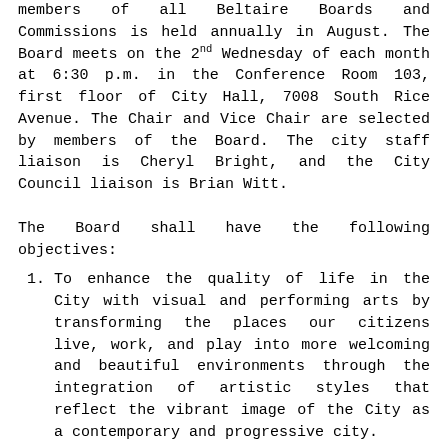members of all Beltaire Boards and Commissions is held annually in August. The Board meets on the 2nd Wednesday of each month at 6:30 p.m. in the Conference Room 103, first floor of City Hall, 7008 South Rice Avenue. The Chair and Vice Chair are selected by members of the Board. The city staff liaison is Cheryl Bright, and the City Council liaison is Brian Witt.
The Board shall have the following objectives:
To enhance the quality of life in the City with visual and performing arts by transforming the places our citizens live, work, and play into more welcoming and beautiful environments through the integration of artistic styles that reflect the vibrant image of the City as a contemporary and progressive city.
Provide the City and its citizens with an art program for future public art and acquisition, performing and visual art exhibition and